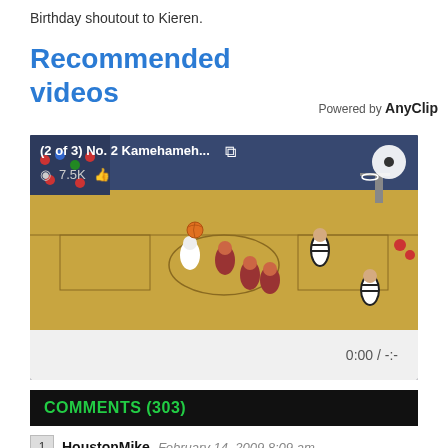Birthday shoutout to Kieren.
Recommended videos
Powered by AnyClip
[Figure (screenshot): Video player showing basketball game with overlay text '(2 of 3) No. 2 Kamehameh...' and view count 7.5K, with timestamp 0:00 / -:-]
COMMENTS (303)
1  HoustonMike  February 14, 2009 8:09 am
1st?